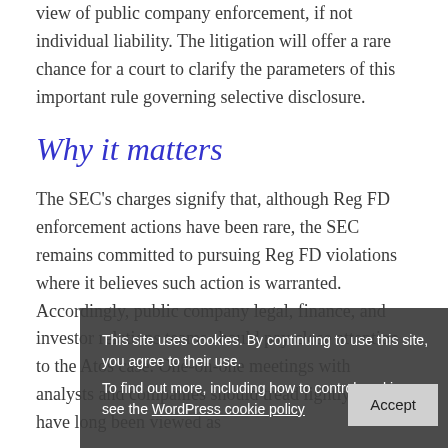view of public company enforcement, if not individual liability. The litigation will offer a rare chance for a court to clarify the parameters of this important rule governing selective disclosure.
Why it matters
The SEC's charges signify that, although Reg FD enforcement actions have been rare, the SEC remains committed to pursuing Reg FD violations where it believes such action is warranted. Accordingly, public company legal, finance, and investor relations teams should pay close attention to the Atos case. One-on-one meetings with analysts...